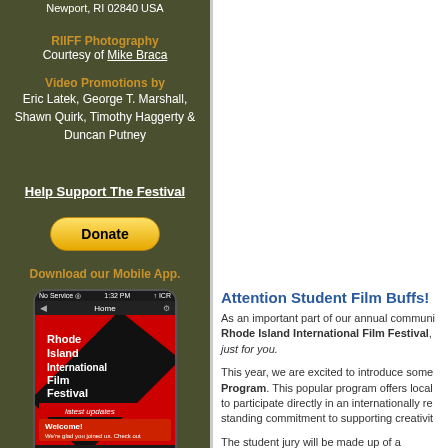Newport, RI 02840 USA
RIIFF Photography
Courtesy of Mike Braca
Video Promotions by
Eric Latek, George T. Marshall,
Shawn Quirk, Timothy Haggerty &
Duncan Putney
Help Support The Festival
[Figure (illustration): PayPal Donate button]
Download our Mobile App.
[Figure (screenshot): Mobile phone showing Rhode Island International Film Festival app with home screen]
Attention Student Film Buffs!
As an important part of our annual community outreach, the Rhode Island International Film Festival, has a special opportunity just for you.
This year, we are excited to introduce some changes to our Student Jury Program. This popular program offers local high school students a chance to participate directly in an internationally recognized event reflecting our long-standing commitment to supporting creativity.
The student jury will be made up of a